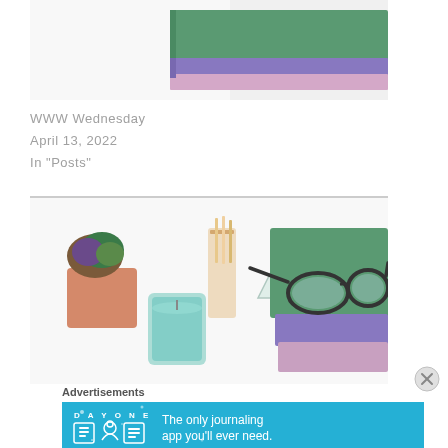[Figure (photo): Partial top view of stacked books with green, purple, and pink covers on white background]
WWW Wednesday
April 13, 2022
In "Posts"
[Figure (photo): Flat lay photo of books stacked with glasses on top, succulents in pots, a teal candle in glass jar, and decorative objects on white background]
Advertisements
[Figure (screenshot): DAY ONE app advertisement banner with blue background showing journaling app icons and text: The only journaling app you'll ever need.]